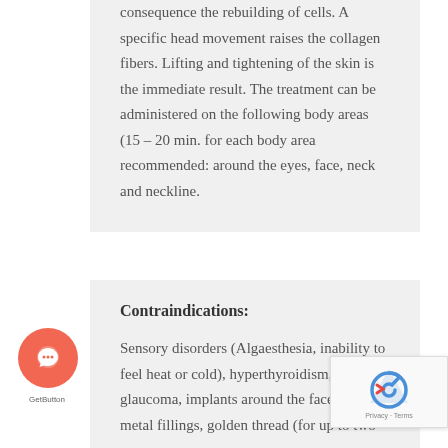consequence the rebuilding of cells. A specific head movement raises the collagen fibers. Lifting and tightening of the skin is the immediate result. The treatment can be administered on the following body areas (15 – 20 min. for each body area recommended: around the eyes, face, neck and neckline.
Contraindications:
Sensory disorders (Algaesthesia, inability to feel heat or cold), hyperthyroidism, glaucoma, implants around the face area, metal fillings, golden thread (for up to two years